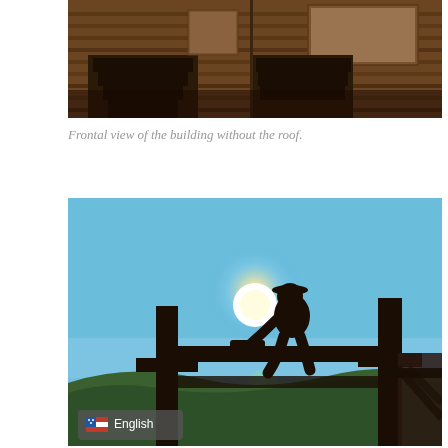[Figure (photo): Frontal view of the interior of a wooden log building structure without the roof, showing steps/stairs and wooden walls from a side-by-side perspective (two panels).]
Frontal view of the building without the roof.
[Figure (photo): A silhouette of a construction worker using a chainsaw on top of wooden roof beams, backlit by the sun in a clear blue sky. A US flag and 'English' language label overlay is visible in the lower left corner.]